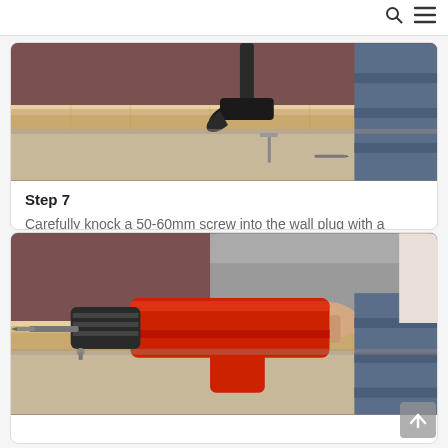🔍 ☰
[Figure (photo): Photo showing a hammer being used to knock a screw into a wall plug near wooden baseboard on carpet flooring]
Step 7
Carefully knock a 50-60mm screw into the wall plug with a hammer. Keep tapping gently until you feel firm resistance.
[Figure (photo): Photo showing a person using a red power drill near a wooden baseboard on carpet flooring]